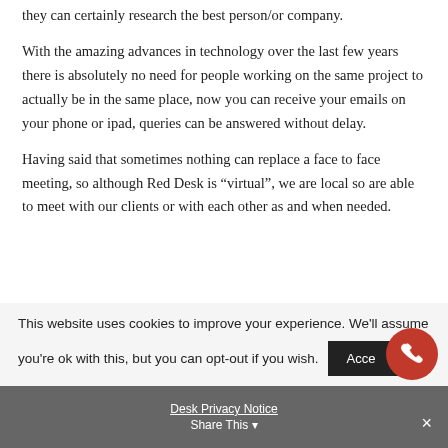they can certainly research the best person/or company.
With the amazing advances in technology over the last few years there is absolutely no need for people working on the same project to actually be in the same place, now you can receive your emails on your phone or ipad, queries can be answered without delay.
Having said that sometimes nothing can replace a face to face meeting, so although Red Desk is “virtual”, we are local so are able to meet with our clients or with each other as and when needed.
This website uses cookies to improve your experience. We'll assume you're ok with this, but you can opt-out if you wish.
Desk Privacy Notice
Share This ▾ ×